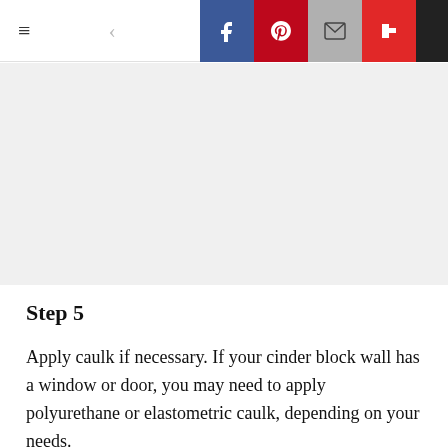≡  <  [Facebook] [Pinterest] [Email] [Flipboard] [More]
[Figure (other): Gray placeholder image block]
Step 5
Apply caulk if necessary. If your cinder block wall has a window or door, you may need to apply polyurethane or elastometric caulk, depending on your needs.